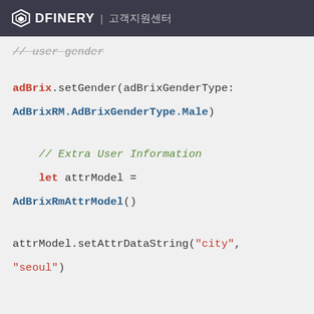DFINERY 고객지원센터
// user gender (faded/strikethrough comment)
adBrix.setGender(adBrixGenderType:
AdBrixRM.AdBrixGenderType.Male)
// Extra User Information
let attrModel =
AdBrixRmAttrModel()
attrModel.setAttrDataString("city",
"seoul")